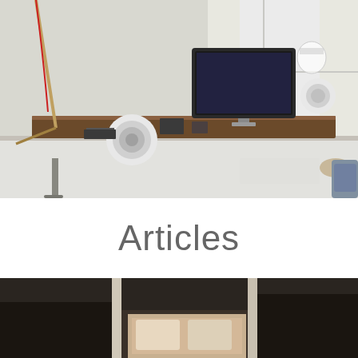[Figure (photo): A modern home office desk setup with a large iMac monitor, white spherical speakers, a wood-topped desk riser, keyboard, mouse, and various accessories near a bright window]
Articles
[Figure (photo): Partial view of a dark interior room at the bottom of the page]